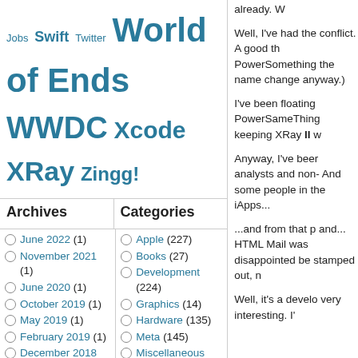Jobs Swift Twitter World of Ends WWDC Xcode XRay Zingg!
Archives
Categories
June 2022 (1)
November 2021 (1)
June 2020 (1)
October 2019 (1)
May 2019 (1)
February 2019 (1)
December 2018 (1)
October 2018 (2)
September 2018 (1)
May 2016 (1)
February 2016 (1)
November 2015 (2)
September 2015 (2)
March 2015 (1)
November 2014 (1)
September
Apple (227)
Books (27)
Development (224)
Graphics (14)
Hardware (135)
Meta (145)
Miscellaneous (342)
Photography (63)
Science (35)
Software (300)
Table Tennis (5)
Tests (38)
Travel (216)
Meta
Log in
already. W
Well, I've had the conflict. A good th PowerSomething the name change anyway.)
I've been floating PowerSameThing keeping XRay II w
Anyway, I've beer analysts and non- And some people in the iApps...
...and from that p and... HTML Mail was disappointed be stamped out, n
Well, it's a develo very interesting. I'